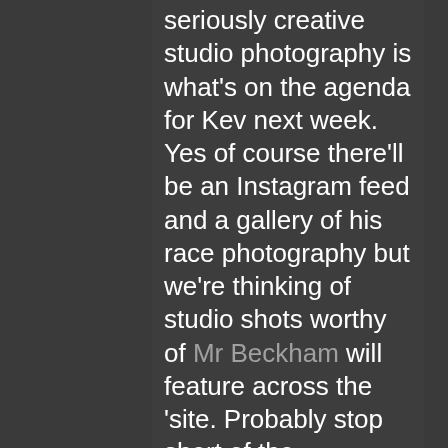seriously creative studio photography is what's on the agenda for Kev next week. Yes of course there'll be an Instagram feed and a gallery of his race photography but we're thinking of studio shots worthy of Mr Beckham will feature across the 'site. Probably stop short of the underwear shots, but tattoos out for sure. It should look incredible and another big investment of passion, time, creativity and flair from the team.
We're anticipating the build to take three to four weeks on this occasion. All The Web Works 'sites are throughly tested of course, however with a potential global audience